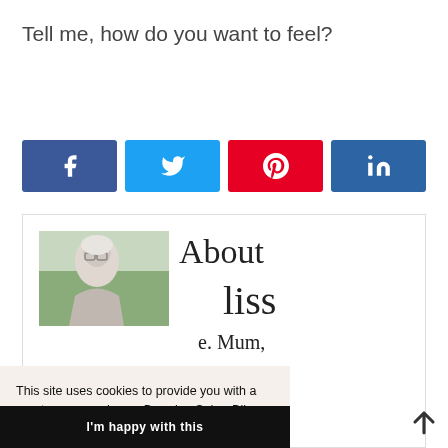Tell me, how do you want to feel?
[Figure (other): Row of four social sharing buttons: Facebook (blue), Twitter (light blue), Pinterest (red), LinkedIn (dark blue)]
[Figure (other): About section with photo of older woman with white hair and glasses, text 'About' and 'bliss' partially visible, followed by partial text 'e. Mum,', 'ber bliss.', 'nge your']
This site uses cookies to provide you with a great user experience. By using Sober Bliss you accept our use of cookies. Read more
I'm happy with this